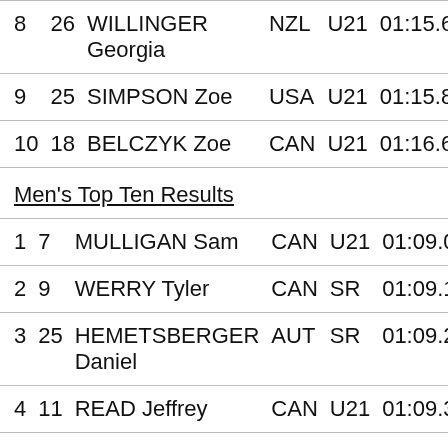| Rank | Bib | Name | NAT | Cat | Time1 | Time2 |
| --- | --- | --- | --- | --- | --- | --- |
| 8 | 26 | WILLINGER Georgia | NZL | U21 | 01:15.66 | 01:1… |
| 9 | 25 | SIMPSON Zoe | USA | U21 | 01:15.87 | 01:1… |
| 10 | 18 | BELCZYK Zoe | CAN | U21 | 01:16.65 | 01:1… |
Men's Top Ten Results
| Rank | Bib | Name | NAT | Cat | Time1 | Time2 |
| --- | --- | --- | --- | --- | --- | --- |
| 1 | 7 | MULLIGAN Sam | CAN | U21 | 01:09.01 | 0… |
| 2 | 9 | WERRY Tyler | CAN | SR | 01:09.10 | 0… |
| 3 | 25 | HEMETSBERGER Daniel | AUT | SR | 01:09.22 | 0… |
| 4 | 11 | READ Jeffrey | CAN | U21 | 01:09.32 |  |